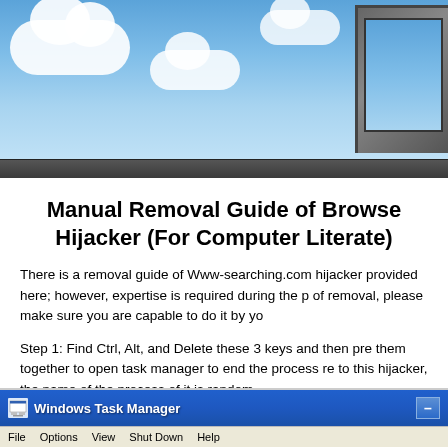[Figure (photo): Laptop computer showing blue sky with white clouds on screen, against a blue sky background with clouds]
Manual Removal Guide of Browser Hijacker (For Computer Literate)
There is a removal guide of Www-searching.com hijacker provided here; however, expertise is required during the process of removal, please make sure you are capable to do it by yourself.
Step 1: Find Ctrl, Alt, and Delete these 3 keys and then press them together to open task manager to end the process related to this hijacker, the name of the process of it is random.
[Figure (screenshot): Windows Task Manager window title bar showing blue gradient header with taskbar icon and menu bar with File, Options, View, Shut Down, Help]